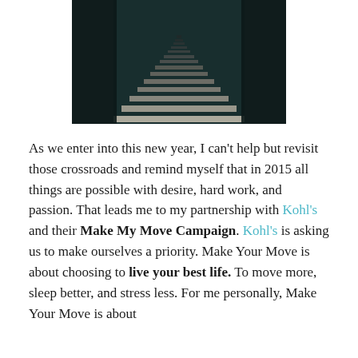[Figure (photo): Dark, moody photograph of a staircase viewed from below looking upward, with wooden steps receding into the distance, dark vertical elements on either side.]
As we enter into this new year, I can't help but revisit those crossroads and remind myself that in 2015 all things are possible with desire, hard work, and passion. That leads me to my partnership with Kohl's and their Make My Move Campaign. Kohl's is asking us to make ourselves a priority. Make Your Move is about choosing to live your best life. To move more, sleep better, and stress less. For me personally, Make Your Move is about